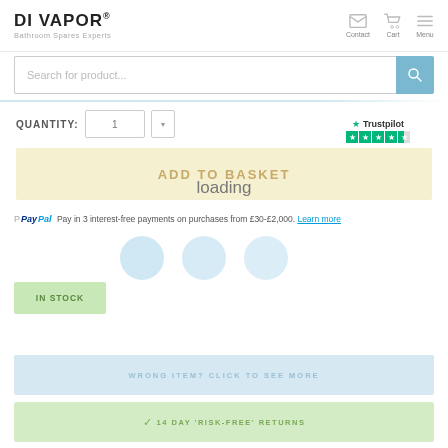DI VAPOR® Bathroom Spares Experts
Search for product...
Trustpilot
QUANTITY: 1
ADD TO BASKET
loading
PayPal Pay in 3 interest-free payments on purchases from £30-£2,000. Learn more
IN STOCK
WRONG ITEM? CLICK TO SEE MORE
✓ 14 DAY 'RISK-FREE' RETURNS